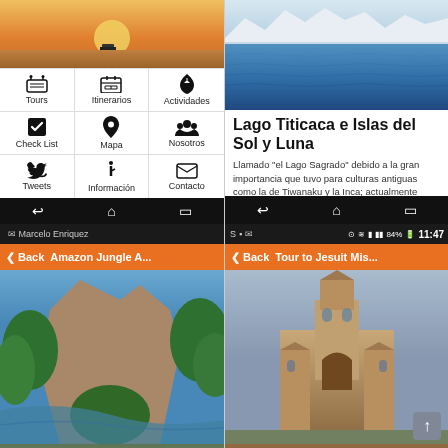[Figure (screenshot): App screenshot showing a travel app menu with desert hero image and 9 menu icons: Tours, Itinerarios, Actividades, Check List, Mapa, Nosotros, Tweets, Información, Contacto]
[Figure (screenshot): App screenshot showing Lago Titicaca e Islas del Sol y Luna article with lake/mountain photo and Spanish text about the sacred lake]
[Figure (screenshot): App screenshot for Amazon Jungle A... with dark status bar, orange navigation bar with Back button, and jungle landscape photo]
[Figure (screenshot): App screenshot for Tour to Jesuit Mis... with status bar showing 84% battery and 11:47, orange navigation bar with Back button, and church photo with scroll-up button]